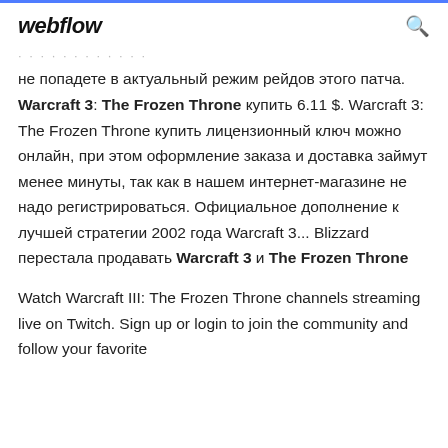webflow
не попадете в актуальный режим рейдов этого патча. Warcraft 3: The Frozen Throne купить 6.11 $. Warcraft 3: The Frozen Throne купить лицензионный ключ можно онлайн, при этом оформление заказа и доставка займут менее минуты, так как в нашем интернет-магазине не надо регистрироваться. Официальное дополнение к лучшей стратегии 2002 года Warcraft 3... Blizzard перестала продавать Warcraft 3 и The Frozen Throne
Watch Warcraft III: The Frozen Throne channels streaming live on Twitch. Sign up or login to join the community and follow your favorite